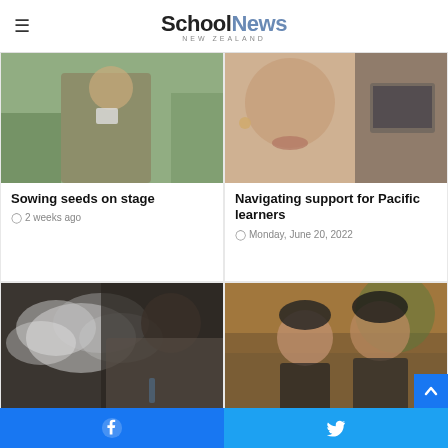School News NEW ZEALAND
[Figure (photo): Person wearing a lanyard outdoors, close-up]
Sowing seeds on stage
2 weeks ago
[Figure (photo): Close-up of a person's face, side profile, with a laptop visible in background]
Navigating support for Pacific learners
Monday, June 20, 2022
[Figure (photo): Person exhaling vape smoke outdoors]
New video resource puts spotlight on vaping
Tuesday, June 14, 2022
[Figure (photo): Two young women smiling outdoors with trees in background]
Te reo, te aroha – love, learning and cultural capability
Tuesday, June 7, 2022
Facebook  Twitter